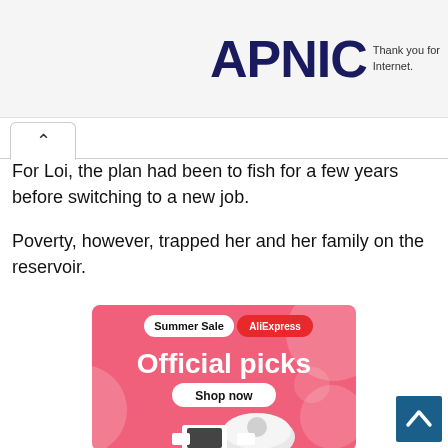APNIC Thank you for the Internet.
For Loi, the plan had been to fish for a few years before switching to a new job.
Poverty, however, trapped her and her family on the reservoir.
[Figure (illustration): AliExpress Summer Sale advertisement banner with pink background, showing 'Summer Sale AliExpress Official picks Shop now' text and product images including a robot vacuum and gaming devices with decorative circles]